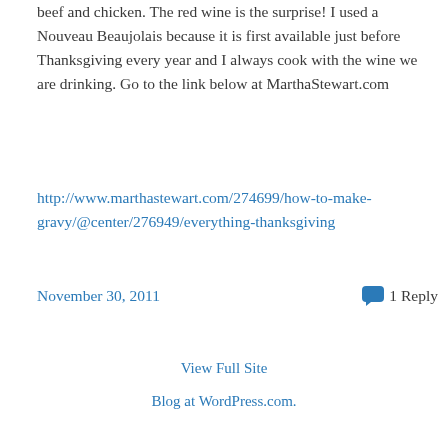beef and chicken. The red wine is the surprise! I used a Nouveau Beaujolais because it is first available just before Thanksgiving every year and I always cook with the wine we are drinking. Go to the link below at MarthaStewart.com
http://www.marthastewart.com/274699/how-to-make-gravy/@center/276949/everything-thanksgiving
November 30, 2011
1 Reply
View Full Site
Blog at WordPress.com.